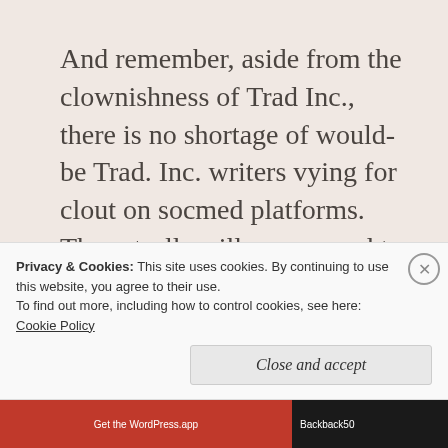And remember, aside from the clownishness of Trad Inc., there is no shortage of would-be Trad. Inc. writers vying for clout on socmed platforms. These trolls will pop up and try to invalidate your objections to Berg-Bag the anti-pope. Remember to
Privacy & Cookies: This site uses cookies. By continuing to use this website, you agree to their use.
To find out more, including how to control cookies, see here: Cookie Policy
Close and accept